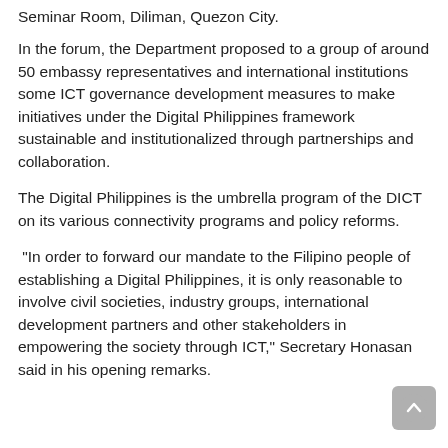Seminar Room, Diliman, Quezon City.
In the forum, the Department proposed to a group of around 50 embassy representatives and international institutions some ICT governance development measures to make initiatives under the Digital Philippines framework sustainable and institutionalized through partnerships and collaboration.
The Digital Philippines is the umbrella program of the DICT on its various connectivity programs and policy reforms.
“In order to forward our mandate to the Filipino people of establishing a Digital Philippines, it is only reasonable to involve civil societies, industry groups, international development partners and other stakeholders in empowering the society through ICT,” Secretary Honasan said in his opening remarks.